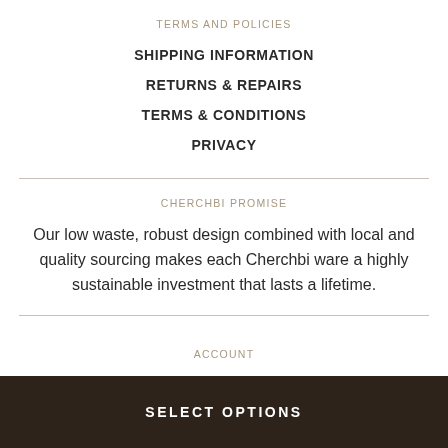TERMS AND POLICIES
SHIPPING INFORMATION
RETURNS & REPAIRS
TERMS & CONDITIONS
PRIVACY
CHERCHBI PROMISE
Our low waste, robust design combined with local and quality sourcing makes each Cherchbi ware a highly sustainable investment that lasts a lifetime.
ACCOUNT
SELECT OPTIONS